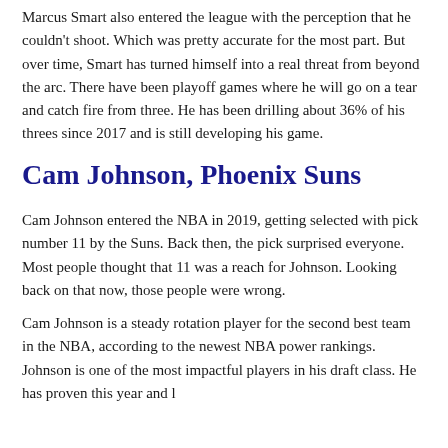Marcus Smart also entered the league with the perception that he couldn't shoot. Which was pretty accurate for the most part. But over time, Smart has turned himself into a real threat from beyond the arc. There have been playoff games where he will go on a tear and catch fire from three. He has been drilling about 36% of his threes since 2017 and is still developing his game.
Cam Johnson, Phoenix Suns
Cam Johnson entered the NBA in 2019, getting selected with pick number 11 by the Suns. Back then, the pick surprised everyone. Most people thought that 11 was a reach for Johnson. Looking back on that now, those people were wrong.
Cam Johnson is a steady rotation player for the second best team in the NBA, according to the newest NBA power rankings. Johnson is one of the most impactful players in his draft class. He has proven this year and l